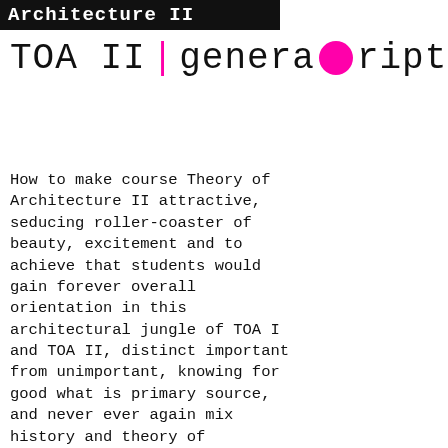Architecture II
TOA II | generative script
How to make course Theory of Architecture II attractive, seducing roller-coaster of beauty, excitement and to achieve that students would gain forever overall orientation in this architectural jungle of TOA I and TOA II, distinct important from unimportant, knowing for good what is primary source, and never ever again mix history and theory of architecture.
To achieve all this script is designed as source of all movements and names (authors). Each student is assigned by 4 out of approx. 42 movements and 4 out of approx. 140 names. 1 week 1 movement or name. Every week winner's